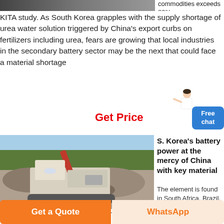[Figure (photo): Partial top image strip (cropped photo at top of page)]
commodities exceeds 80% KITA study. As South Korea grapples with the supply shortage of urea water solution triggered by China's export curbs on fertilizers including urea, fears are growing that local industries in the secondary battery sector may be the next that could face a material shortage
[Figure (other): Person figure / Get Price button area with Free chat button]
[Figure (photo): Mining machinery photo - large crusher/excavator equipment in an open quarry]
S. Korea's battery power at the mercy of China with key material
The element is found in South Africa, Brazil, and Australia, but China has the world's biggest reserve. According to Korea Mineral
the world's biggest reserve. According to Korea Mineral
Get a Quote
WhatsApp